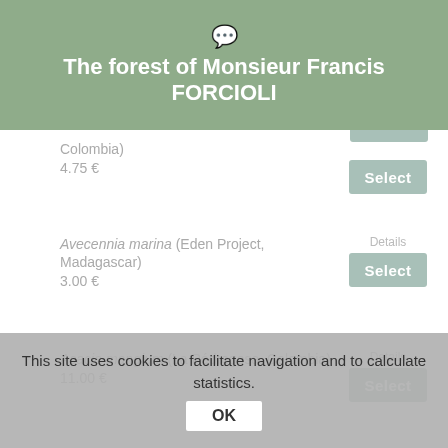The forest of Monsieur Francis FORCIOLI
Colombia) 4.75 €
Avecennia marina (Eden Project, Madagascar) 3.00 €
Acacia mangium (La Pédregosa, Colombia) 11.00 €
Anacardium occidentale (La Pedregosa, Colombia)
This site uses cookies to facilitate navigation and to calculate statistics.